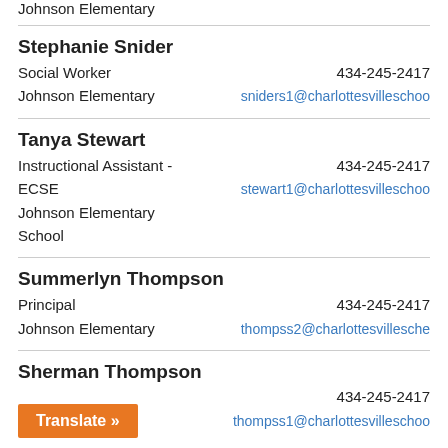Johnson Elementary
Stephanie Snider
Social Worker
434-245-2417
Johnson Elementary
sniders1@charlottesvilleschools...
Tanya Stewart
Instructional Assistant - ECSE
434-245-2417
Johnson Elementary School
stewart1@charlottesvilleschools...
Summerlyn Thompson
Principal
434-245-2417
Johnson Elementary
thompss2@charlottesvilleschools...
Sherman Thompson
434-245-2417
thompss1@charlottesvilleschools...
Translate »